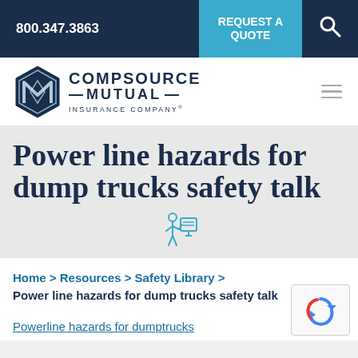800.347.3863 | REQUEST A QUOTE | Search
[Figure (logo): CompSource Mutual Insurance Company logo with hexagon M icon]
Power line hazards for dump trucks safety talk
[Figure (illustration): Small icon of a person presenting at a board/easel]
Home > Resources > Safety Library > Power line hazards for dump trucks safety talk
Powerline hazards for dumptrucks